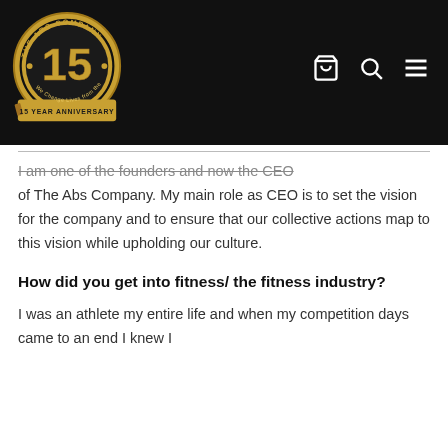The Abs Company — 15 Year Anniversary logo with navigation icons
I am one of the founders and now the CEO of The Abs Company. My main role as CEO is to set the vision for the company and to ensure that our collective actions map to this vision while upholding our culture.
How did you get into fitness/ the fitness industry?
I was an athlete my entire life and when my competition days came to an end I knew I